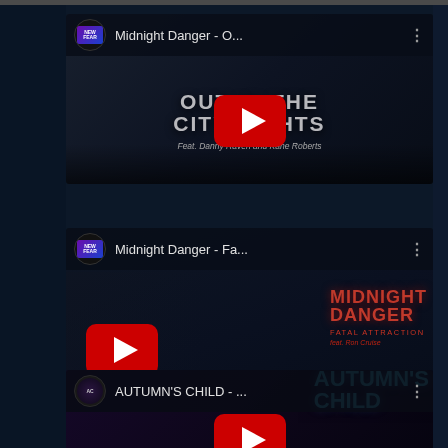[Figure (screenshot): YouTube app screenshot showing a playlist/channel view with three video thumbnails. First video: 'Midnight Danger - O...' with channel icon, showing 'OUT IN THE CITY LIGHTS feat. Danny Raven and Kane Roberts' thumbnail with YouTube play button. Second video: 'Midnight Danger - Fa...' showing 'MIDNIGHT DANGER FATAL ATTRACTION feat. Ron Cruise' thumbnail with YouTube play button. Third video (partially visible): 'AUTUMN'S CHILD - ...' with YouTube play button. Dark navy background with side panels.]